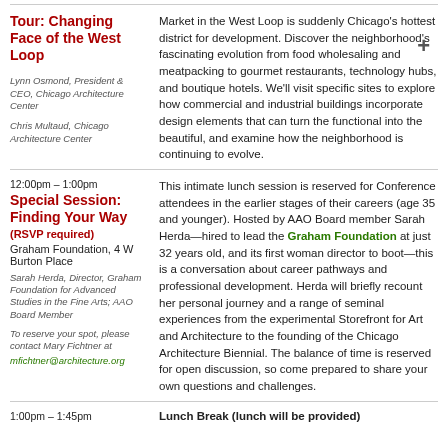Tour: Changing Face of the West Loop
Market in the West Loop is suddenly Chicago's hottest district for development. Discover the neighborhood's fascinating evolution from food wholesaling and meatpacking to gourmet restaurants, technology hubs, and boutique hotels. We'll visit specific sites to explore how commercial and industrial buildings incorporate design elements that can turn the functional into the beautiful, and examine how the neighborhood is continuing to evolve.
Lynn Osmond, President & CEO, Chicago Architecture Center
Chris Multaud, Chicago Architecture Center
12:00pm – 1:00pm
Special Session: Finding Your Way
(RSVP required)
Graham Foundation, 4 W Burton Place
Sarah Herda, Director, Graham Foundation for Advanced Studies in the Fine Arts; AAO Board Member
To reserve your spot, please contact Mary Fichtner at
mfichtner@architecture.org
This intimate lunch session is reserved for Conference attendees in the earlier stages of their careers (age 35 and younger). Hosted by AAO Board member Sarah Herda—hired to lead the Graham Foundation at just 32 years old, and its first woman director to boot—this is a conversation about career pathways and professional development. Herda will briefly recount her personal journey and a range of seminal experiences from the experimental Storefront for Art and Architecture to the founding of the Chicago Architecture Biennial. The balance of time is reserved for open discussion, so come prepared to share your own questions and challenges.
1:00pm – 1:45pm
Lunch Break (lunch will be provided)